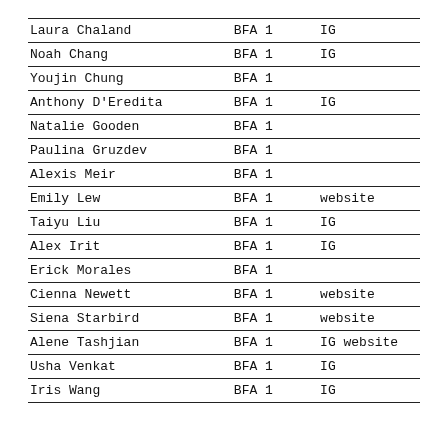| Name | Degree | Links |
| --- | --- | --- |
| Laura Chaland | BFA 1 | IG |
| Noah Chang | BFA 1 | IG |
| Youjin Chung | BFA 1 |  |
| Anthony D'Eredita | BFA 1 | IG |
| Natalie Gooden | BFA 1 |  |
| Paulina Gruzdev | BFA 1 |  |
| Alexis Meir | BFA 1 |  |
| Emily Lew | BFA 1 | website |
| Taiyu Liu | BFA 1 | IG |
| Alex Irit | BFA 1 | IG |
| Erick Morales | BFA 1 |  |
| Cienna Newett | BFA 1 | website |
| Siena Starbird | BFA 1 | website |
| Alene Tashjian | BFA 1 | IG website |
| Usha Venkat | BFA 1 | IG |
| Iris Wang | BFA 1 | IG |